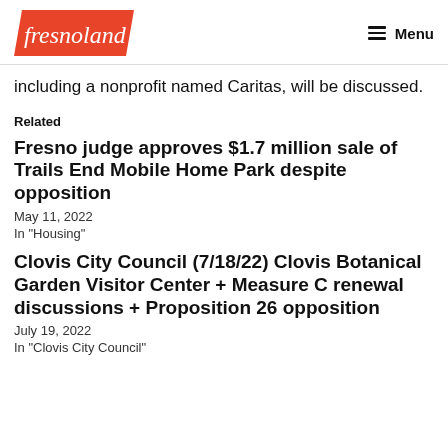fresnoland | Menu
including a nonprofit named Caritas, will be discussed.
Related
Fresno judge approves $1.7 million sale of Trails End Mobile Home Park despite opposition
May 11, 2022
In "Housing"
Clovis City Council (7/18/22) Clovis Botanical Garden Visitor Center + Measure C renewal discussions + Proposition 26 opposition
July 19, 2022
In "Clovis City Council"